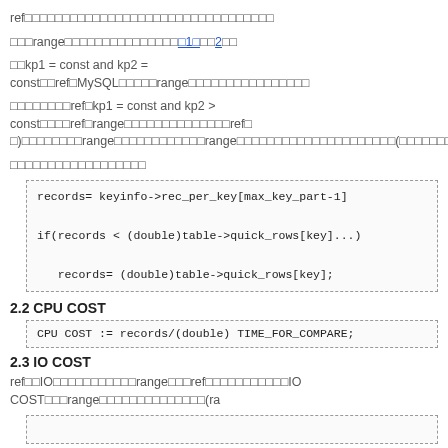ref□□□□□□□□□□□□□□□□□□□□□□□□□□□□□□□
□□□range□□□□□□□□□□□□□□□□□1□□□2□□
□□kp1 = const and kp2 = const□□ref□MySQL□□□□□range□□□□□□□□□□□□□□□□□□□
□□□□□□□□ref□kp1 = const and kp2 > const□□□□ref□range□□□□□□□□□□□□□□ref□□□)□□□□□□□□range□□□□□□□□□□□□range□□□□□□□□□□□□□□□□□□□□□□□□□(□□□□□□□□□□□□□□
□□□□□□□□□□□□□□□□□□
[Figure (other): Code block with dashed border showing: records= keyinfo->rec_per_key[max_key_part-1], if(records < (double)table->quick_rows[key]...), records= (double)table->quick_rows[key];]
2.2 CPU COST
[Figure (other): Code block with dashed border showing: CPU COST := records/(double) TIME_FOR_COMPARE;]
2.3 IO COST
ref□□IO□□□□□□□□□□□range□□□ref□□□□□□□□□□□IO COST□□□range□□□□□□□□□□□□□□□(ra
[Figure (other): Partial code block at bottom of page]